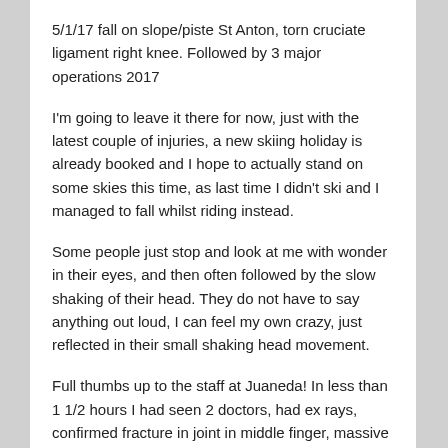5/1/17 fall on slope/piste St Anton, torn cruciate ligament right knee. Followed by 3 major operations 2017
I'm going to leave it there for now, just with the latest couple of injuries, a new skiing holiday is already booked and I hope to actually stand on some skies this time, as last time I didn't ski and I managed to fall whilst riding instead.
Some people just stop and look at me with wonder in their eyes, and then often followed by the slow shaking of their head. They do not have to say anything out loud, I can feel my own crazy, just reflected in their small shaking head movement.
Full thumbs up to the staff at Juaneda! In less than 1 1/2 hours I had seen 2 doctors, had ex rays, confirmed fracture in joint in middle finger, massive bandage incorporating an aluminum splint put on by 2 nurses as well as paying my bill and exiting car park without having to pay for any parking! I also got a new consultation time